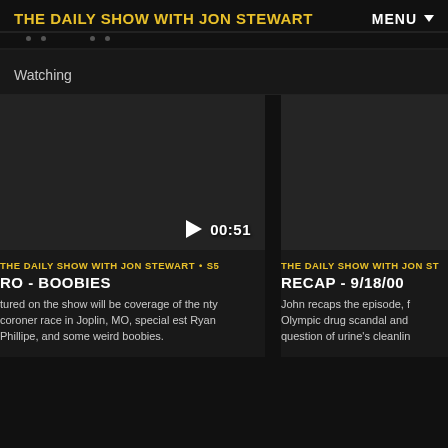THE DAILY SHOW WITH JON STEWART
Watching
[Figure (screenshot): Dark video thumbnail with play button and timestamp 00:51]
THE DAILY SHOW WITH JON STEWART • S5
RO - BOOBIES
tured on the show will be coverage of the nty coroner race in Joplin, MO, special est Ryan Phillipe, and some weird boobies.
[Figure (screenshot): Dark video thumbnail for second clip]
THE DAILY SHOW WITH JON ST
RECAP - 9/18/00
John recaps the episode, f Olympic drug scandal and question of urine's cleanlin